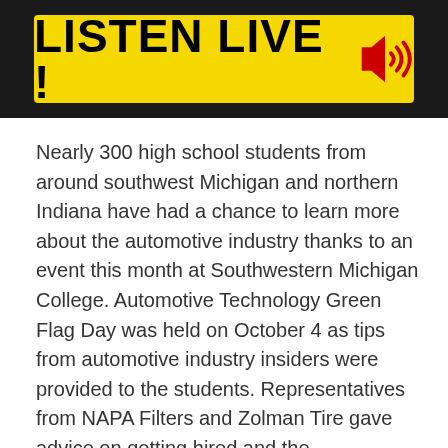[Figure (other): Yellow banner on dark background with bold black text 'LISTEN LIVE !' and a red speaker/sound icon with sound waves]
Nearly 300 high school students from around southwest Michigan and northern Indiana have had a chance to learn more about the automotive industry thanks to an event this month at Southwestern Michigan College. Automotive Technology Green Flag Day was held on October 4 as tips from automotive industry insiders were provided to the students. Representatives from NAPA Filters and Zolman Tire gave advice on getting hired and the technologies of tomorrow were discussed. SMC says the day hosted students from Van Buren Tech in Lawrence, the